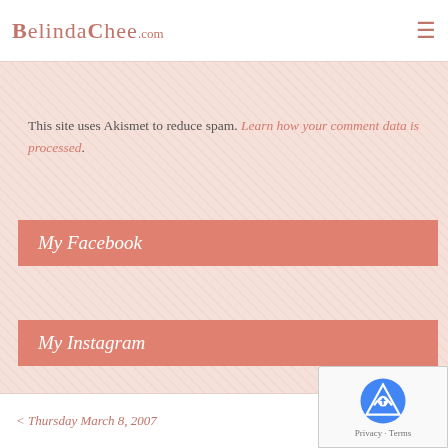BelindaChee.com
This site uses Akismet to reduce spam. Learn how your comment data is processed.
My Facebook
My Instagram
< Thursday March 8, 2007    Sunday March 18